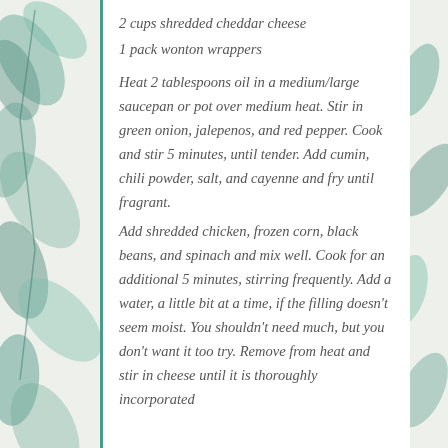2 cups shredded cheddar cheese
1 pack wonton wrappers
Heat 2 tablespoons oil in a medium/large saucepan or pot over medium heat. Stir in green onion, jalepenos, and red pepper. Cook and stir 5 minutes, until tender. Add cumin, chili powder, salt, and cayenne and fry until fragrant.
Add shredded chicken, frozen corn, black beans, and spinach and mix well. Cook for an additional 5 minutes, stirring frequently. Add a water, a little bit at a time, if the filling doesn't seem moist. You shouldn't need much, but you don't want it too try. Remove from heat and stir in cheese until it is thoroughly incorporated